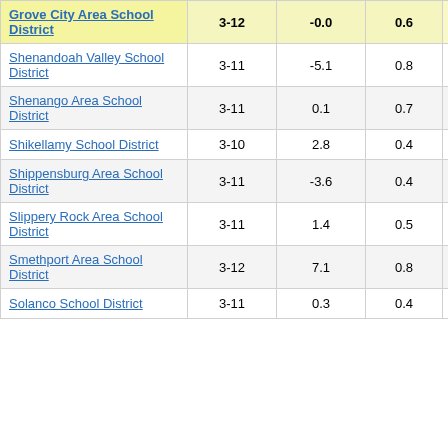| School District | Grades |  |  | Score |
| --- | --- | --- | --- | --- |
| Grove City Area School District | 3-12 | -0.0 | 0.6 | -0.00 |
| Shenandoah Valley School District | 3-11 | -5.1 | 0.8 | -6.16 |
| Shenango Area School District | 3-11 | 0.1 | 0.7 | 0.09 |
| Shikellamy School District | 3-10 | 2.8 | 0.4 | 6.42 |
| Shippensburg Area School District | 3-11 | -3.6 | 0.4 | -8.90 |
| Slippery Rock Area School District | 3-11 | 1.4 | 0.5 | 2.68 |
| Smethport Area School District | 3-12 | 7.1 | 0.8 | 8.76 |
| Solanco School District | 3-11 | 0.3 | 0.4 | 0.81 |